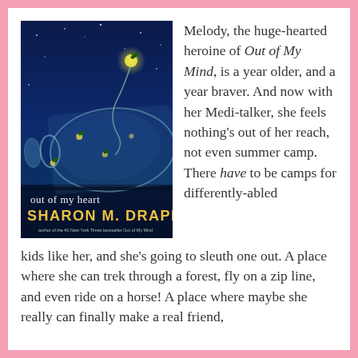[Figure (illustration): Book cover of 'Out of My Heart' by Sharon M. Draper. Dark blue night sky background with fireflies, a glass jar tipped on its side with fireflies inside, the title 'out of my heart' in white text, and author name 'SHARON M. DRAPER' in large yellow letters at the bottom.]
Melody, the huge-hearted heroine of Out of My Mind, is a year older, and a year braver. And now with her Medi-talker, she feels nothing's out of her reach, not even summer camp. There have to be camps for differently-abled kids like her, and she's going to sleuth one out. A place where she can trek through a forest, fly on a zip line, and even ride on a horse! A place where maybe she really can finally make a real friend,